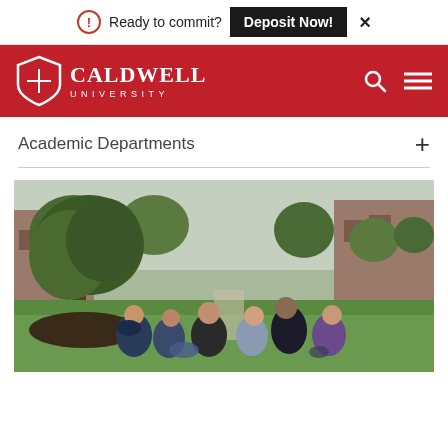Ready to commit? Deposit Now! ×
[Figure (logo): Caldwell University logo with shield icon on red background header with search and menu icons]
Academic Departments +
[Figure (photo): Students sitting on grass on Caldwell University campus under a large tree, with brick buildings and green trees in the background]